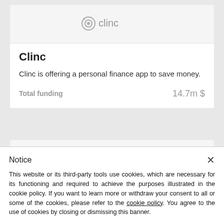[Figure (logo): Clinc logo with eye/lens icon and text 'clinc' in gray]
Clinc
Clinc is offering a personal finance app to save money.
Total funding   14.7m $
[Figure (logo): GINMON logo with blue circle icon and text 'GINMON' in gray uppercase]
Notice
This website or its third-party tools use cookies, which are necessary for its functioning and required to achieve the purposes illustrated in the cookie policy. If you want to learn more or withdraw your consent to all or some of the cookies, please refer to the cookie policy. You agree to the use of cookies by closing or dismissing this banner.